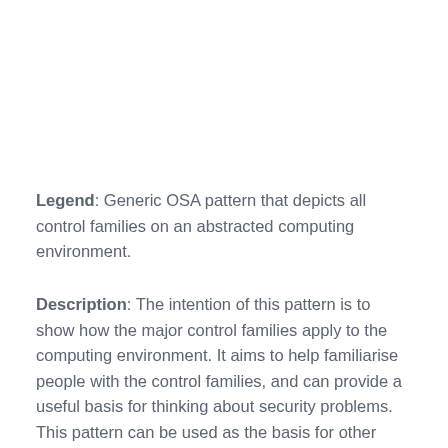Legend: Generic OSA pattern that depicts all control families on an abstracted computing environment.
Description: The intention of this pattern is to show how the major control families apply to the computing environment. It aims to help familiarise people with the control families, and can provide a useful basis for thinking about security problems. This pattern can be used as the basis for other patterns. Users must authenticate in some manner to the systems they utilise.